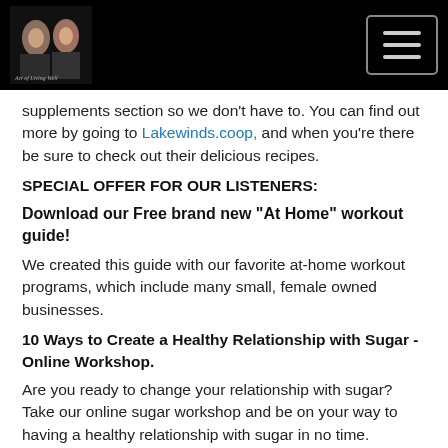[Figure (logo): Podcast logo with two women on black background]
supplements section so we don't have to. You can find out more by going to Lakewinds.coop, and when you're there be sure to check out their delicious recipes.
SPECIAL OFFER FOR OUR LISTENERS:
Download our Free brand new "At Home" workout guide!
We created this guide with our favorite at-home workout programs, which include many small, female owned businesses.
10 Ways to Create a Healthy Relationship with Sugar - Online Workshop.
Are you ready to change your relationship with sugar? Take our online sugar workshop and be on your way to having a healthy relationship with sugar in no time. Purchase this 1 hour workshop here.
Rate and Review Us!
Please head over to Apple Podcasts and give the Art of Living Well Podcast a rating and review. We would so appreciate it and it helps our podcast get found in searches. Thank you!